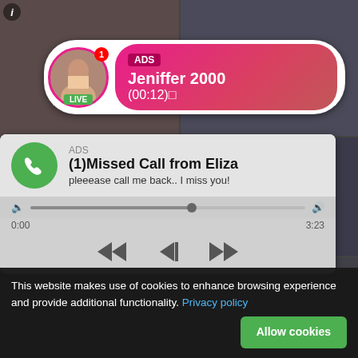[Figure (screenshot): Background grid of adult video thumbnails in dark tones]
[Figure (screenshot): ADS notification popup: profile photo with LIVE badge, gradient pink-red bubble showing 'ADS Jeniffer 2000 (00:12)' text]
[Figure (screenshot): ADS missed call popup with green phone icon, text '(1)Missed Call from Eliza / pleeease call me back.. I miss you!' with audio player controls showing 0:00 to 3:23]
This website makes use of cookies to enhance browsing experience and provide additional functionality. Privacy policy
Allow cookies